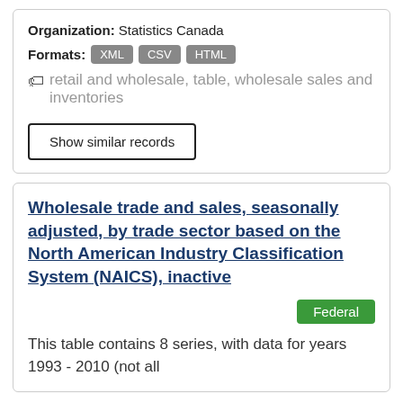Organization: Statistics Canada
Formats: XML CSV HTML
retail and wholesale, table, wholesale sales and inventories
Show similar records
Wholesale trade and sales, seasonally adjusted, by trade sector based on the North American Industry Classification System (NAICS), inactive
Federal
This table contains 8 series, with data for years 1993 - 2010 (not all